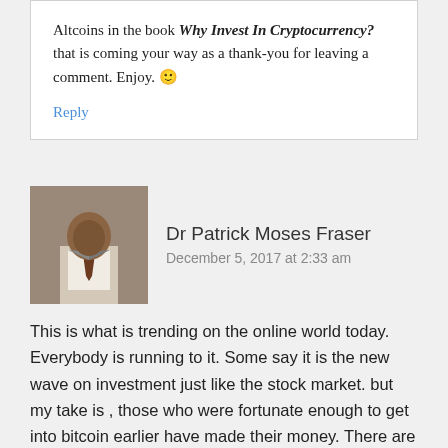Altcoins in the book Why Invest In Cryptocurrency? that is coming your way as a thank-you for leaving a comment. Enjoy. 🙂
Reply
Dr Patrick Moses Fraser
December 5, 2017 at 2:33 am
This is what is trending on the online world today. Everybody is running to it. Some say it is the new wave on investment just like the stock market. but my take is , those who were fortunate enough to get into bitcoin earlier have made their money. There are many cryptocurrencies on the block today and many more to come. Will they crash in the future soon? hard to say. i